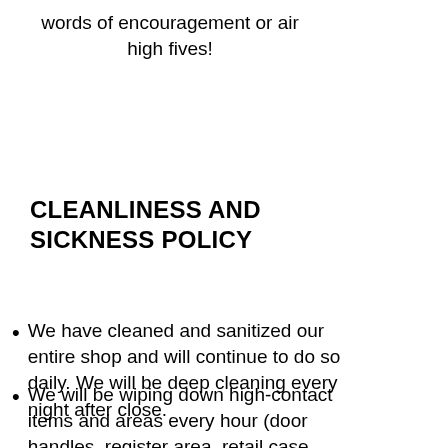words of encouragement or air high fives!
CLEANLINESS AND SICKNESS POLICY
We have cleaned and sanitized our entire shop and will continue to do so daily. We will be deep cleaning every night after close.
We will be wiping down high-contact items and areas every hour (door handles, register area, retail case, handrails, bathrooms, etc.) and increasing our cleaning and sanitizing frequency. We will